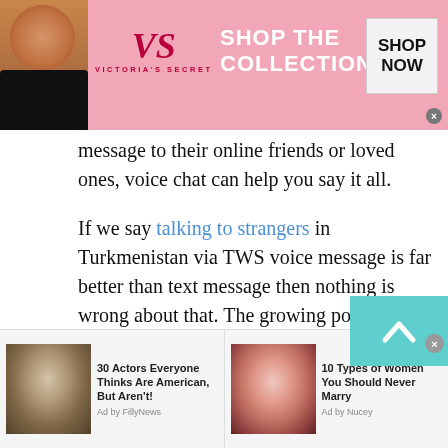[Figure (illustration): Victoria's Secret advertisement banner with model, VS logo, 'SHOP THE COLLECTION' text, and 'SHOP NOW' button on pink background]
message to their online friends or loved ones, voice chat can help you say it all.
If we say talking to strangers in Turkmenistan via TWS voice message is far better than text message then nothing is wrong about that. The growing popularity of using voice chat or message is ease of use and convenience. Instead of writing long texts people prefer to send a recorded message to their loved ones. Yes, because you can better clear your message via voice chat.
[Figure (illustration): Two sponsored content ads at the bottom: '30 Actors Everyone Thinks Are American, But Aren't!' by FillyNews, and '10 Types of Women You Should Never Marry' by Nucey]
30 Actors Everyone Thinks Are American, But Aren't! Ad by FillyNews
10 Types of Women You Should Never Marry Ad by Nucey